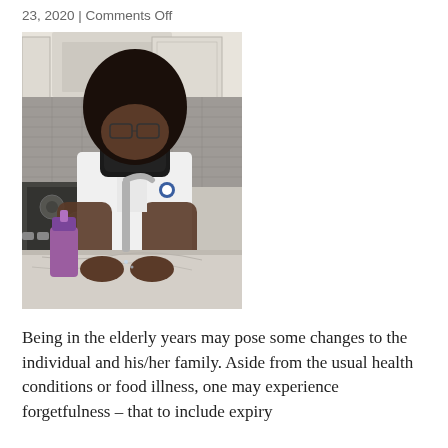23, 2020 | Comments Off
[Figure (photo): A healthcare worker wearing a black face mask and white scrubs washing hands at a kitchen sink. She has a large natural afro hairstyle. In the background is a kitchen with cabinetry, a range hood, stovetop, and a purple soap dispenser on the granite countertop.]
Being in the elderly years may pose some changes to the individual and his/her family. Aside from the usual health conditions or food illness, one may experience forgetfulness – that to include expiry